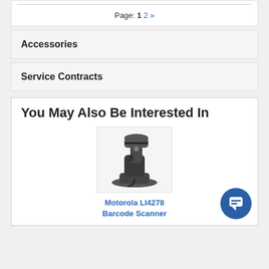Page: 1 2 »
Accessories
Service Contracts
You May Also Be Interested In
[Figure (photo): Motorola LI4278 Barcode Scanner product photo — a black wireless barcode scanner resting in a charging cradle]
Motorola LI4278 Barcode Scanner